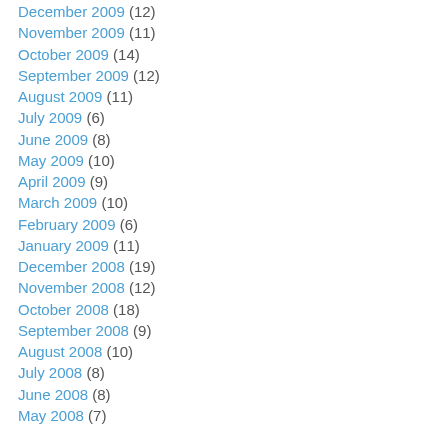December 2009 (12)
November 2009 (11)
October 2009 (14)
September 2009 (12)
August 2009 (11)
July 2009 (6)
June 2009 (8)
May 2009 (10)
April 2009 (9)
March 2009 (10)
February 2009 (6)
January 2009 (11)
December 2008 (19)
November 2008 (12)
October 2008 (18)
September 2008 (9)
August 2008 (10)
July 2008 (8)
June 2008 (8)
May 2008 (7)